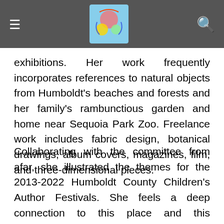exhibitions. Her work frequently incorporates references to natural objects from Humboldt's beaches and forests and her family's rambunctious garden and home near Sequoia Park Zoo. Freelance work includes fabric design, botanical drawings, album covers, magazines, film, and three-dimensional pieces.
Collaborating with the committee from afar, she illustrated the themes for the 2013-2022 Humboldt County Children's Author Festivals. She feels a deep connection to this place and this remarkable gathering of authors and illustrators and young readers. Her participation honors the hard work of the Festival's Committee, and the towers of wonder-filled books she checked out and devoured from the Humboldt County